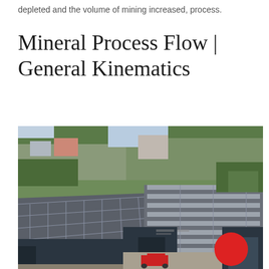depleted and the volume of mining increased, process.
Mineral Process Flow | General Kinematics
[Figure (photo): Aerial view of a large industrial facility with dark blue corrugated metal roofed warehouses, rooftop skylights, surrounding trees, parking areas, and vehicles. A red circle logo is visible in the lower-right area of the image.]